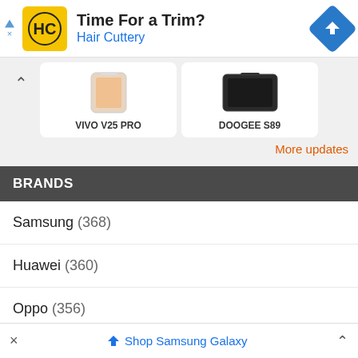[Figure (illustration): Advertisement banner for Hair Cuttery showing HC logo, text 'Time For a Trim?' and 'Hair Cuttery', and a navigation/maps direction icon]
[Figure (photo): Two phone product cards: VIVO V25 PRO and DOOGEE S89 with phone images and a chevron-up arrow]
More updates
BRANDS
Samsung (368)
Huawei (360)
Oppo (356)
Vivo (306)
× ♦ Shop Samsung Galaxy ^